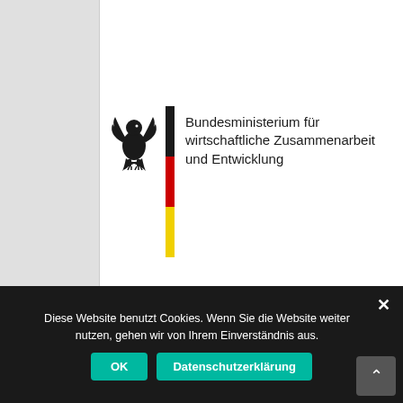[Figure (logo): German Federal Ministry for Economic Cooperation and Development logo: black eagle emblem, vertical German flag stripe (black/red/gold), and ministry name text in German]
Diese Website benutzt Cookies. Wenn Sie die Website weiter nutzen, gehen wir von Ihrem Einverständnis aus.